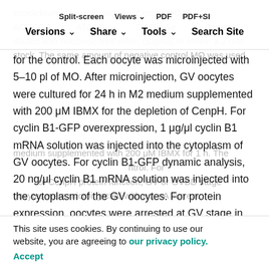knockdown in mouse oocytes. CenpH MO (5′-ACGCCA...ATAAG...CAG) (GeneTools) was diluted with nuclease-free water (Sigma) to obtain a 2 mM stock. The same amount of negative control MO was used
Split-screen | Views | PDF | PDF+SI | Versions | Share | Tools | Search Site
for the control. Each oocyte was microinjected with 5–10 pl of MO. After microinjection, GV oocytes were cultured for 24 h in M2 medium supplemented with 200 μM IBMX for the depletion of CenpH. For cyclin B1-GFP overexpression, 1 μg/μl cyclin B1 mRNA solution was injected into the cytoplasm of GV oocytes. For cyclin B1-GFP dynamic analysis, 20 ng/μl cyclin B1 mRNA solution was injected into the cytoplasm of the GV oocytes. For protein expression, oocytes were arrested at GV stage in M2
medium supplemented with 200 μM IBMX for 1 h. The GFP-RNA injection was used as a control. For studying of CenpH protein function, GV or GVBD stage oocytes were microinjected with a 1 nA current...
This site uses cookies. By continuing to use our website, you are agreeing to our privacy policy. Accept